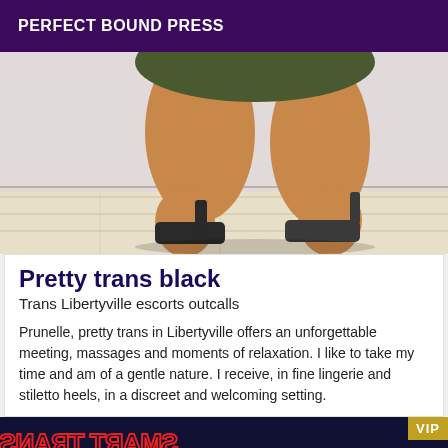PERFECT BOUND PRESS
[Figure (photo): Close-up photo of a person's legs in high heels, crouching on a light wooden floor. The person is wearing dark high-heeled shoes and what appears to be a short outfit. The image shows legs from the thighs down.]
Pretty trans black
Trans Libertyville escorts outcalls
Prunelle, pretty trans in Libertyville offers an unforgettable meeting, massages and moments of relaxation. I like to take my time and am of a gentle nature. I receive, in fine lingerie and stiletto heels, in a discreet and welcoming setting.
[Figure (photo): Dark banner image with mirrored/flipped bold red outlined text that appears to say SMART TRANS or similar, on a dark navy background. A gold VIP badge appears in the top right corner.]